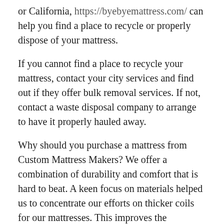or California, https://byebyemattress.com/ can help you find a place to recycle or properly dispose of your mattress.
If you cannot find a place to recycle your mattress, contact your city services and find out if they offer bulk removal services. If not, contact a waste disposal company to arrange to have it properly hauled away.
Why should you purchase a mattress from Custom Mattress Makers? We offer a combination of durability and comfort that is hard to beat. A keen focus on materials helped us to concentrate our efforts on thicker coils for our mattresses. This improves the longevity of our products. We also use high-density foam for the same reason. The final key to our success is creating just the right arrangement of coils within the mattresses. Custom Mattress Makers believes that a higher concentration of coils makes for the most